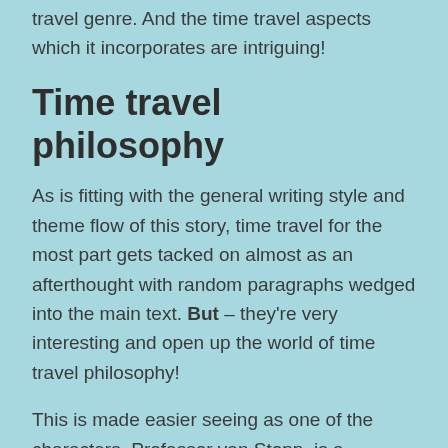travel genre. And the time travel aspects which it incorporates are intriguing!
Time travel philosophy
As is fitting with the general writing style and theme flow of this story, time travel for the most part gets tacked on almost as an afterthought with random paragraphs wedged into the main text. But – they're very interesting and open up the world of time travel philosophy!
This is made easier seeing as one of the characters, Professor van Stopp, is a professor of philosophy who poses many questions to the brothers.
For example, he asks why shouldn't a clock go backwards, and goes on to ask why time itself